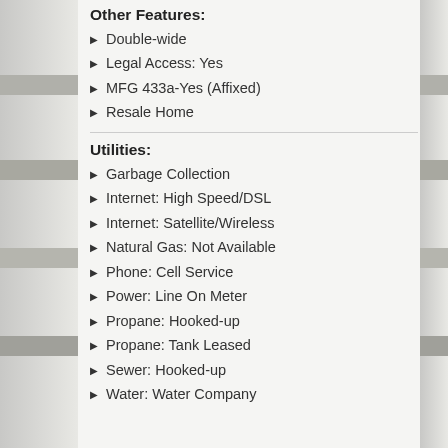Other Features:
Double-wide
Legal Access: Yes
MFG 433a-Yes (Affixed)
Resale Home
Utilities:
Garbage Collection
Internet: High Speed/DSL
Internet: Satellite/Wireless
Natural Gas: Not Available
Phone: Cell Service
Power: Line On Meter
Propane: Hooked-up
Propane: Tank Leased
Sewer: Hooked-up
Water: Water Company